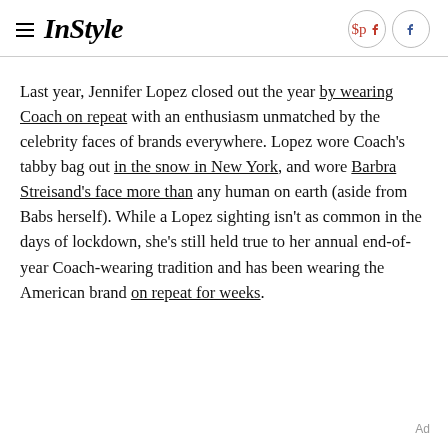InStyle
Last year, Jennifer Lopez closed out the year by wearing Coach on repeat with an enthusiasm unmatched by the celebrity faces of brands everywhere. Lopez wore Coach's tabby bag out in the snow in New York, and wore Barbra Streisand's face more than any human on earth (aside from Babs herself). While a Lopez sighting isn't as common in the days of lockdown, she's still held true to her annual end-of-year Coach-wearing tradition and has been wearing the American brand on repeat for weeks.
Ad